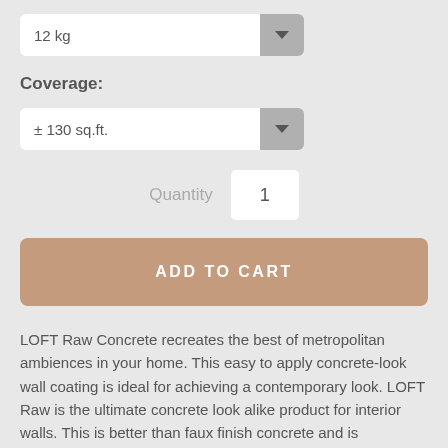12 kg
Coverage:
± 130 sq.ft.
Quantity  1
ADD TO CART
LOFT Raw Concrete recreates the best of metropolitan ambiences in your home. This easy to apply concrete-look wall coating is ideal for achieving a contemporary look. LOFT Raw is the ultimate concrete look alike product for interior walls. This is better than faux finish concrete and is